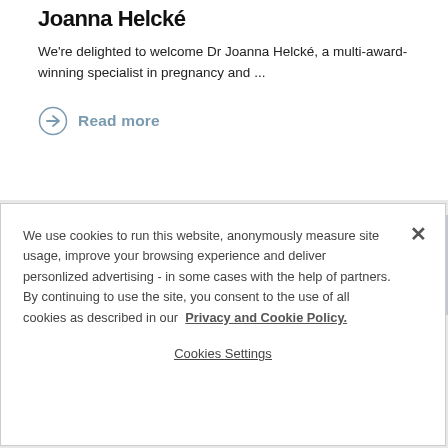Joanna Helcké
We're delighted to welcome Dr Joanna Helcké, a multi-award-winning specialist in pregnancy and ...
→ Read more
[Figure (photo): Photo showing a lamp and partial view of a person, soft interior background]
We use cookies to run this website, anonymously measure site usage, improve your browsing experience and deliver personlized advertising - in some cases with the help of partners. By continuing to use the site, you consent to the use of all cookies as described in our Privacy and Cookie Policy.
Cookies Settings